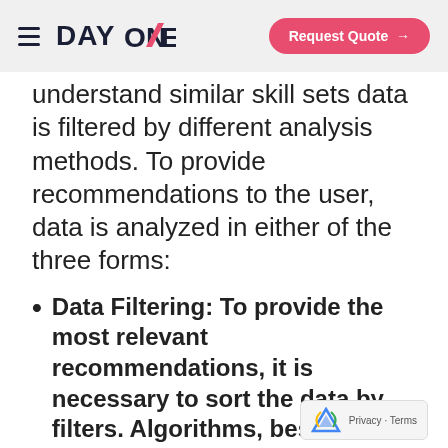DAY ONE — Request Quote
understand similar skill sets data is filtered by different analysis methods. To provide recommendations to the user, data is analyzed in either of the three forms:
Data Filtering: To provide the most relevant recommendations, it is necessary to sort the data by filters. Algorithms, best